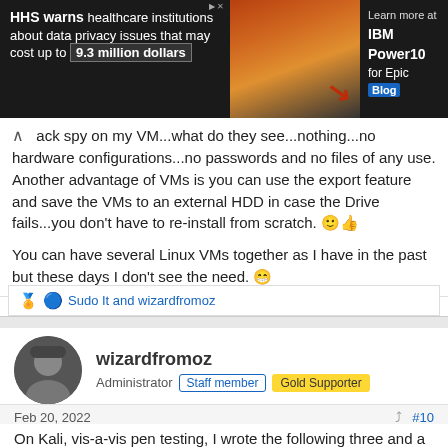[Figure (other): Advertisement banner: HHS warns healthcare institutions about data privacy issues that may cost up to 9.3 million dollars. Learn more at IBM Power10 for Epic Blog.]
ack spy on my VM...what do they see...nothing...no hardware configurations...no passwords and no files of any use. Another advantage of VMs is you can use the export feature and save the VMs to an external HDD in case the Drive fails...you don't have to re-install from scratch. 🙂👍
You can have several Linux VMs together as I have in the past but these days I don't see the need. 😁
Sudo It and wizardfromoz
wizardfromoz
Administrator  Staff member  Gold Supporter
Feb 20, 2022  #10
On Kali, vis-a-vis pen testing, I wrote the following three and a half years ago